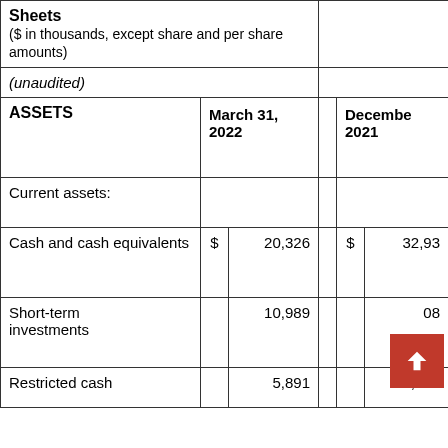Sheets
($ in thousands, except share and per share amounts)
(unaudited)
| ASSETS | March 31, 2022 |  | December 2021 |  |
| --- | --- | --- | --- | --- |
| Current assets: |  |  |  |  |
| Cash and cash equivalents | $ | 20,326 | $ | 32,93 |
| Short-term investments |  | 10,989 |  | 08 |
| Restricted cash |  | 5,891 |  | 5,891 |